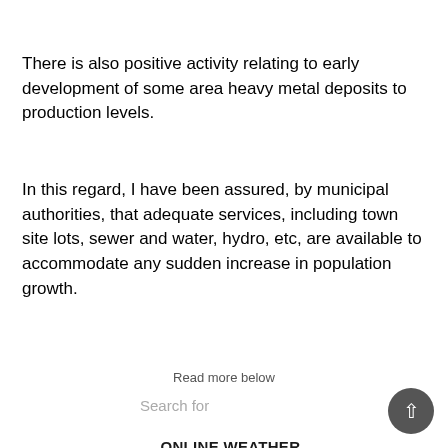There is also positive activity relating to early development of some area heavy metal deposits to production levels.
In this regard, I have been assured, by municipal authorities, that adequate services, including town site lots, sewer and water, hydro, etc, are available to accommodate any sudden increase in population growth.
Read more below
Search for
1.  ONLINE WEATHER UPDATES
2.  TOP 10 BUSINESSMEN
3.  CELEBRITY FASHION TRENDS